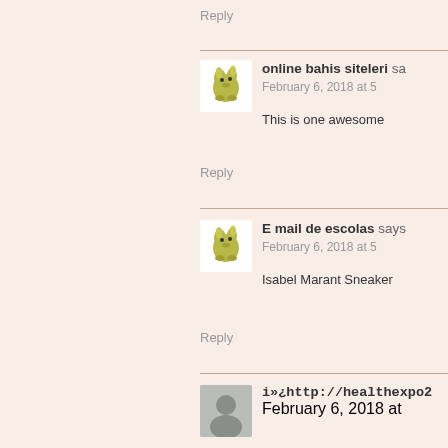Reply
online bahis siteleri says:
February 6, 2018 at 5
This is one awesome
Reply
E mail de escolas says:
February 6, 2018 at 5
Isabel Marant Sneaker
Reply
i»¿http://healthexpo2
February 6, 2018 at